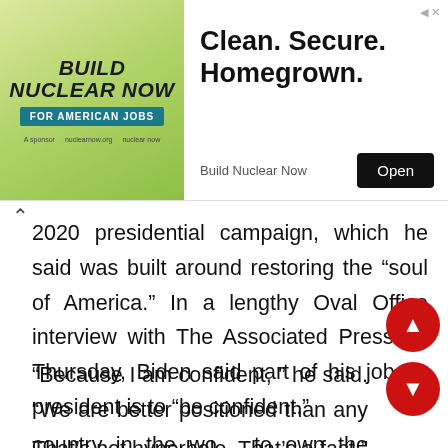[Figure (screenshot): Advertisement banner for Build Nuclear Now — left side shows logo with text 'BUILD NUCLEAR NOW FOR AMERICAN JOBS' on green gradient background; right side shows text 'Clean. Secure. Homegrown.' with 'Build Nuclear Now' brand and 'Open' button.]
2020 presidential campaign, which he said was built around restoring the “soul of America.” In a lengthy Oval Office interview with The Associated Press on Thursday, Biden said part of his job as president is to “be confident.”
“Because I am confident, ” he said. “We are better positioned than any country in the world to own the second quarter of the 21st cent… That’s not hyperbole. That’s a fact.”